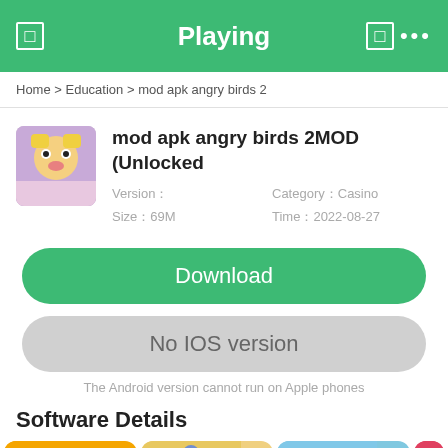Playing
Home > Education > mod apk angry birds 2
mod apk angry birds 2MOD (Unlocked
Version：	Category：Casino
Size：69M	Time：2022-08-27
Download
No IOS version
The Android version cannot run on Apple phones
Software Details
[Figure (screenshot): Four app thumbnails at the bottom of the page]